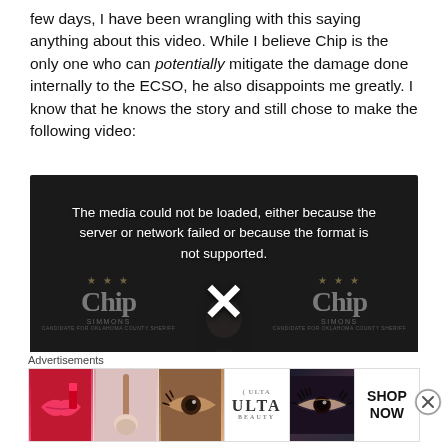few days, I have been wrangling with this saying anything about this video. While I believe Chip is the only one who can potentially mitigate the damage done internally to the ECSO, he also disappoints me greatly. I know that he knows the story and still chose to make the following video:
[Figure (screenshot): Video player showing error message 'The media could not be loaded, either because the server or network failed or because the format is not supported.' with a large X in the center. Background shows Chip Simmons campaign banners.]
Advertisements
[Figure (photo): Advertisement strip showing ULTA beauty products with close-up makeup images and SHOP NOW call to action.]